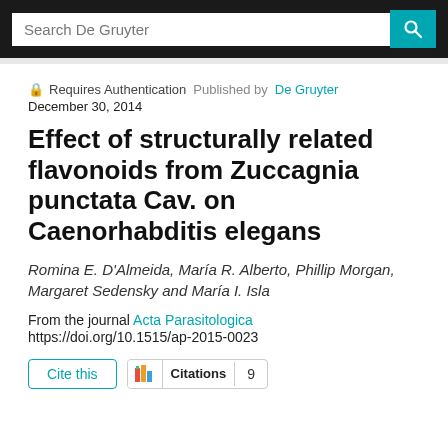Search De Gruyter
🔒 Requires Authentication  Published by De Gruyter
December 30, 2014
Effect of structurally related flavonoids from Zuccagnia punctata Cav. on Caenorhabditis elegans
Romina E. D'Almeida, María R. Alberto, Phillip Morgan, Margaret Sedensky and María I. Isla
From the journal Acta Parasitologica
https://doi.org/10.1515/ap-2015-0023
Cite this  Citations  9